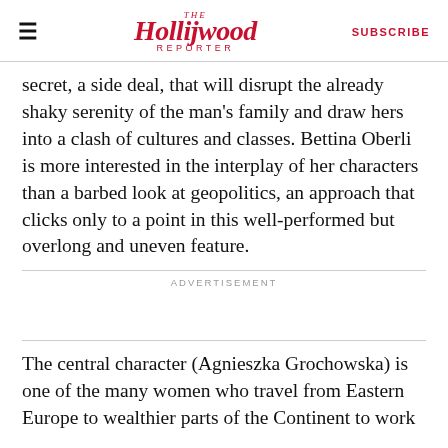The Hollywood Reporter | SUBSCRIBE
secret, a side deal, that will disrupt the already shaky serenity of the man’s family and draw hers into a clash of cultures and classes. Bettina Oberli is more interested in the interplay of her characters than a barbed look at geopolitics, an approach that clicks only to a point in this well-performed but overlong and uneven feature.
ADVERTISEMENT
The central character (Agnieszka Grochowska) is one of the many women who travel from Eastern Europe to wealthier parts of the Continent to work